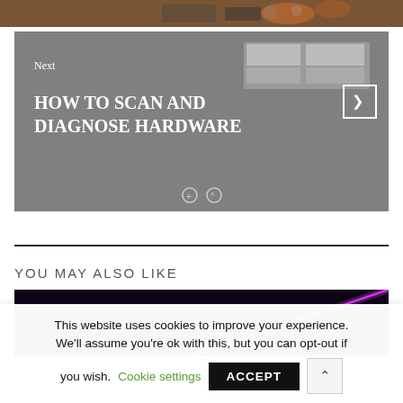[Figure (photo): Top portion of a website article showing a partial image crop at the very top of the page, dark wooden texture with orange hues visible]
[Figure (screenshot): Gray navigation card for the next article labeled 'Next' with title 'HOW TO SCAN AND DIAGNOSE HARDWARE', small screenshots visible on the right, and an arrow button]
YOU MAY ALSO LIKE
[Figure (photo): Dark background with a bright pink/magenta laser beam diagonal across the frame]
This website uses cookies to improve your experience. We'll assume you're ok with this, but you can opt-out if you wish.
Cookie settings
ACCEPT